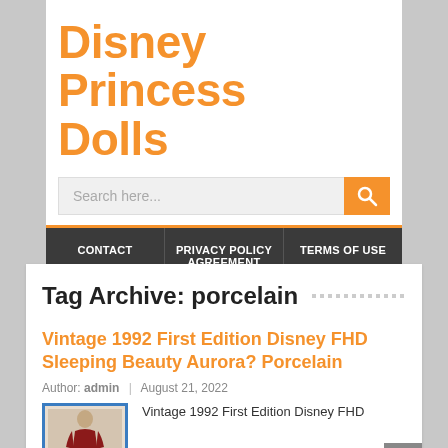Disney Princess Dolls
[Figure (screenshot): Search input field with orange search button]
CONTACT | PRIVACY POLICY AGREEMENT | TERMS OF USE
Tag Archive: porcelain
Vintage 1992 First Edition Disney FHD Sleeping Beauty Aurora? Porcelain
Author: admin | August 21, 2022
Vintage 1992 First Edition Disney FHD